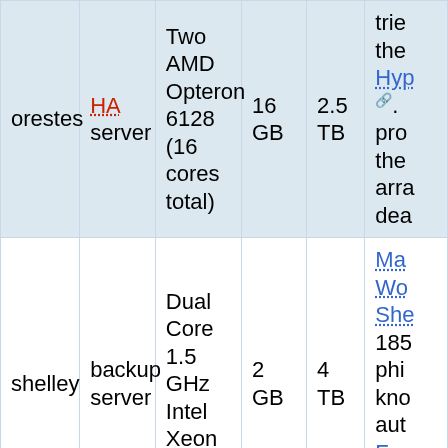| Name | Role | CPU | RAM | Storage | Notes |
| --- | --- | --- | --- | --- | --- |
| orestes | HA server | Two AMD Opteron 6128 (16 cores total) | 16 GB | 2.5 TB | ... tried the Hyp... pro... the arra... dea... |
| shelley | backup server | Dual Core 1.5 GHz Intel Xeon 3050 | 2 GB | 4 TB | Ma... Wo... She... 185... phi... kno... aut... Fra... the... Pro... |